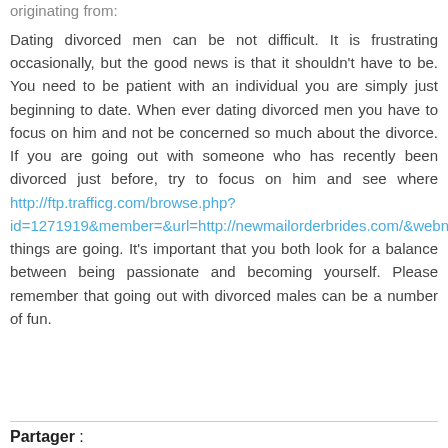originating from:
Dating divorced men can be not difficult. It is frustrating occasionally, but the good news is that it shouldn't have to be. You need to be patient with an individual you are simply just beginning to date. When ever dating divorced men you have to focus on him and not be concerned so much about the divorce. If you are going out with someone who has recently been divorced just before, try to focus on him and see where http://ftp.trafficg.com/browse.php?id=1271919&member=&url=http://newmailorderbrides.com/&webname=New+Mail+Order+Brides&catmain=20&catsub=211&start=24 things are going. It's important that you both look for a balance between being passionate and becoming yourself. Please remember that going out with divorced males can be a number of fun.
Partager :